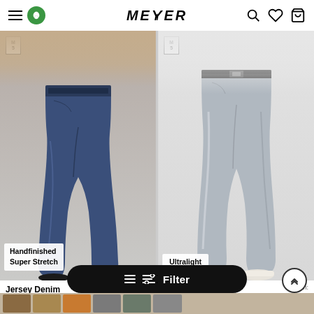MEYER — navigation header with hamburger menu, green icon, search, wishlist, cart
[Figure (photo): Man wearing dark blue denim jeans (Jersey Denim M5 Slim Fit) with tan sweatshirt and black sneakers. M5 badge top-left. Overlay badge reads 'Handfinished Super Stretch'.]
[Figure (photo): Man wearing light grey slim trousers (Summer denim) with white long-sleeve shirt, white sneakers, and black belt. M5 badge top-left. Overlay badge reads 'Ultralight'.]
Jersey Denim M5 Slim Fit
From:
Summer denim
From: $289.00